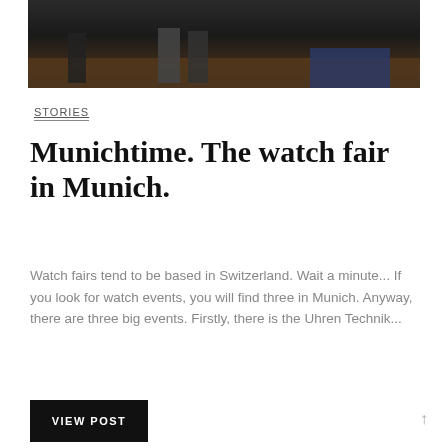[Figure (photo): Dark photo showing silhouettes of people standing in what appears to be a lobby or event hall with brown flooring and blue carpet area]
STORIES
Munichtime. The watch fair in Munich.
Watch fairs tend to be based in Switzerland. Wait a minute... If you look for watch events, you will find three in Munich. Anyway, there are three big events. Firstly, there is the Uhren Technik...